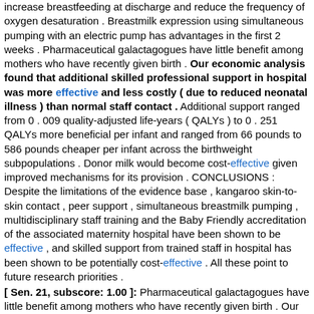increase breastfeeding at discharge and reduce the frequency of oxygen desaturation . Breastmilk expression using simultaneous pumping with an electric pump has advantages in the first 2 weeks . Pharmaceutical galactagogues have little benefit among mothers who have recently given birth . Our economic analysis found that additional skilled professional support in hospital was more effective and less costly ( due to reduced neonatal illness ) than normal staff contact . Additional support ranged from 0 . 009 quality-adjusted life-years ( QALYs ) to 0 . 251 QALYs more beneficial per infant and ranged from 66 pounds to 586 pounds cheaper per infant across the birthweight subpopulations . Donor milk would become cost-effective given improved mechanisms for its provision . CONCLUSIONS : Despite the limitations of the evidence base , kangaroo skin-to-skin contact , peer support , simultaneous breastmilk pumping , multidisciplinary staff training and the Baby Friendly accreditation of the associated maternity hospital have been shown to be effective , and skilled support from trained staff in hospital has been shown to be potentially cost-effective . All these point to future research priorities .
[ Sen. 21, subscore: 1.00 ]: Pharmaceutical galactagogues have little benefit among mothers who have recently given birth . Our economic analysis found that additional skilled professional support in hospital was more effective and less costly ( due to reduced neonatal illness ) than normal staff contact . Additional support ranged from 0 . 009 quality-adjusted life-years ( QALYs ) to 0 . 251 QALYs more beneficial per infant and ranged from 66 pounds to 586 pounds cheaper per infant across the birthweight subpopulations . Donor milk would become cost-effective given improved mechanisms for its provision . CONCLUSIONS : Despite the limitations of the evidence base , kangaroo skin-to-skin contact , peer support , simultaneous breastmilk pumping , multidisciplinary staff training and the Baby Friendly accreditation of the associated maternity hospital have been shown to be